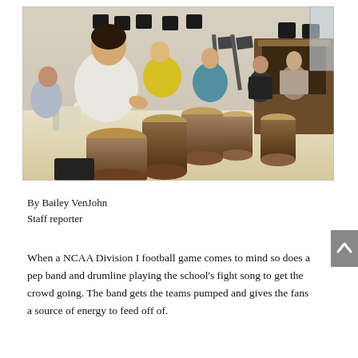[Figure (photo): Group of students sitting in a semi-circle in a classroom playing djembe drums together. Students are of various ages wearing casual clothing. A piano is visible in the background along with music stands and chairs.]
By Bailey VenJohn
Staff reporter
When a NCAA Division I football game comes to mind so does a pep band and drumline playing the school's fight song to get the crowd going. The band gets the teams pumped and gives the fans a source of energy to feed off of.